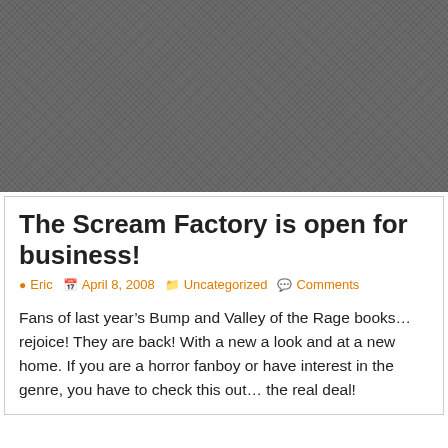[Figure (photo): Dark grey textured/crosshatched header image area]
The Scream Factory is open for business!
Eric   April 8, 2008   Uncategorized   Comments
Fans of last year’s Bump and Valley of the Rage books… rejoice! They are back! With a new a look and at a new home. If you are a horror fanboy or have interest in the genre, you have to check this out… the real deal!